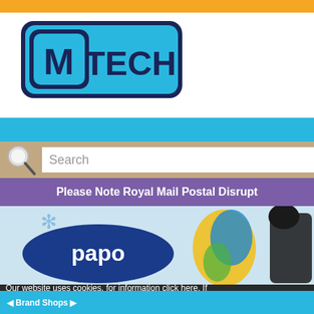[Figure (logo): M-TECH logo: blue and dark navy rounded rectangle with 'M TECH' text in bold stylized font]
[Figure (screenshot): Blue navigation bar at top of website]
[Figure (screenshot): Search bar with magnifying glass icon and 'Search' placeholder text on beige background]
Please Note Royal Mail Postal Disrupt
[Figure (photo): Papo brand promotional banner showing Papo logo (blue oval with white text), a yellow and blue macaw parrot figurine, and a black rearing horse figurine]
Home › Headphones & Headsets › Gaming
Our website uses cookies, for information click here. If you use the site, we'll assume you're happy to accept the cookies.
Brand Shops
I'm fine with this [x]